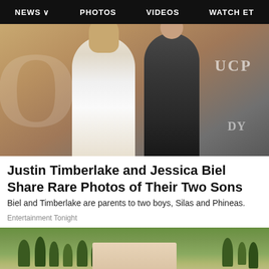NEWS  PHOTOS  VIDEOS  WATCH ET
[Figure (photo): Justin Timberlake and Jessica Biel posing together at an event in front of a backdrop with UCP and other branding. Biel wears white, Timberlake wears dark clothing.]
Justin Timberlake and Jessica Biel Share Rare Photos of Their Two Sons
Biel and Timberlake are parents to two boys, Silas and Phineas.
Entertainment Tonight
[Figure (photo): Outdoor landscape with green trees and a light-colored building or structure in the foreground.]